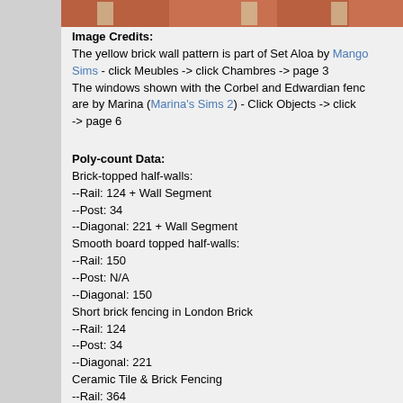[Figure (photo): Partial view of brick wall with windows, photo strip at top of page]
Image Credits:
The yellow brick wall pattern is part of Set Aloa by Mango Sims - click Meubles -> click Chambres -> page 3
The windows shown with the Corbel and Edwardian fenc are by Marina (Marina's Sims 2) - Click Objects -> click -> page 6
Poly-count Data:
Brick-topped half-walls:
--Rail: 124 + Wall Segment
--Post: 34
--Diagonal: 221 + Wall Segment
Smooth board topped half-walls:
--Rail: 150
--Post: N/A
--Diagonal: 150
Short brick fencing in London Brick
--Rail: 124
--Post: 34
--Diagonal: 221
Ceramic Tile & Brick Fencing
--Rail: 364
--Post: 234
--Diagonal: 364
Corbel Fencing in Limestone